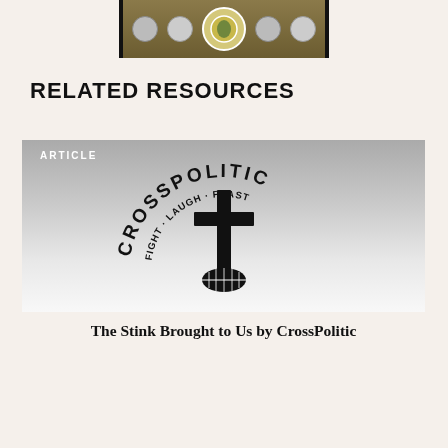[Figure (photo): Top banner image showing a group photo with portraits arranged around a central emblem on a gold/brown background with black borders]
RELATED RESOURCES
[Figure (logo): CrossPolitic logo showing circular text reading 'CROSSPOLITIC' with 'FIGHT · LAUGH · FEAST' and a cross in the center, on a grey-to-white gradient background with ARTICLE label]
The Stink Brought to Us by CrossPolitic